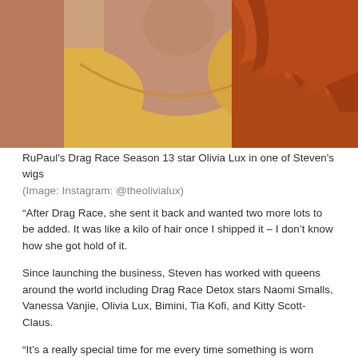[Figure (photo): Close-up photo of a person wearing a yellow tank top with long red/orange wavy hair, cropped to show the neckline and hair.]
RuPaul's Drag Race Season 13 star Olivia Lux in one of Steven's wigs
(Image: Instagram: @theolivialux)
“After Drag Race, she sent it back and wanted two more lots to be added. It was like a kilo of hair once I shipped it – I don’t know how she got hold of it.
Since launching the business, Steven has worked with queens around the world including Drag Race Detox stars Naomi Smalls, Vanessa Vanjie, Olivia Lux, Bimini, Tia Kofi, and Kitty Scott-Claus.
“It’s a really special time for me every time something is worn